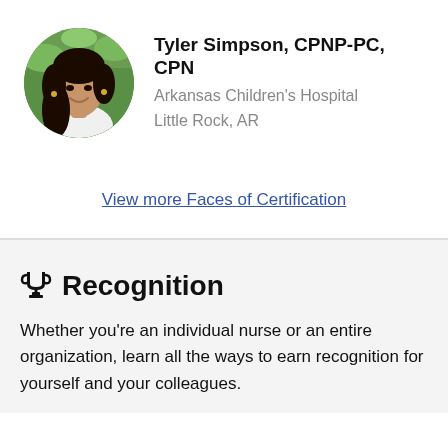[Figure (photo): Circular profile photo of Tyler Simpson, a woman with long dark hair, wearing a white top, smiling outdoors with green foliage background]
Tyler Simpson, CPNP-PC, CPN
Arkansas Children's Hospital
Little Rock, AR
View more Faces of Certification
Recognition
Whether you're an individual nurse or an entire organization, learn all the ways to earn recognition for yourself and your colleagues.